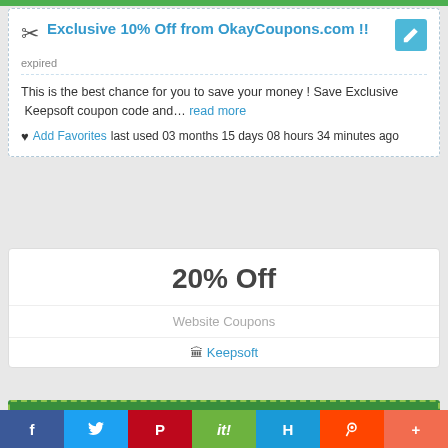Exclusive 10% Off from OkayCoupons.com !!
expired
This is the best chance for you to save your money ! Save Exclusive  Keepsoft coupon code and… read more
♥ Add Favorites last used 03 months 15 days 08 hours 34 minutes ago
20% Off
Website Coupons
🏛 Keepsoft
100%